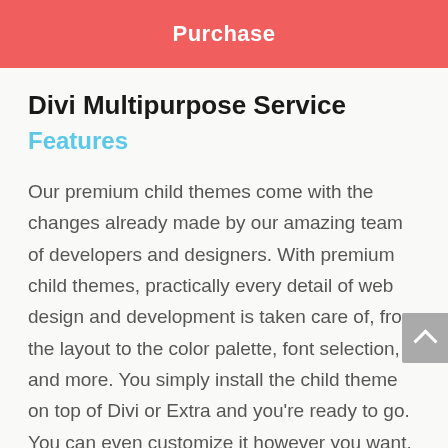Purchase
Divi Multipurpose Service
Features
Our premium child themes come with the changes already made by our amazing team of developers and designers. With premium child themes, practically every detail of web design and development is taken care of, from the layout to the color palette, font selection, and more. You simply install the child theme on top of Divi or Extra and you're ready to go. You can even customize it however you want. Pretty